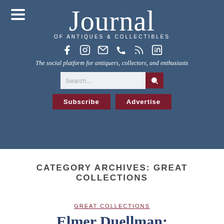Journal of Antiques & Collectibles
The social platform for antiquers, collectors, and enthusiasts
CATEGORY ARCHIVES: GREAT COLLECTIONS
GREAT COLLECTIONS
Elmer Duellman: